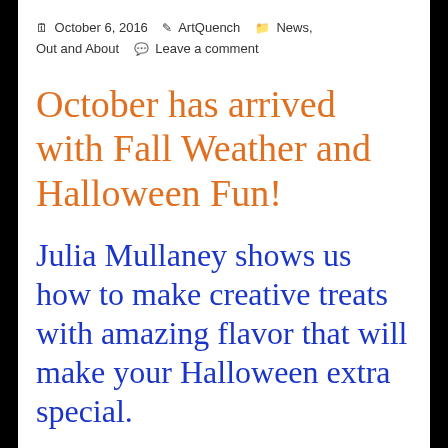October 6, 2016   ArtQuench   News, Out and About   Leave a comment
October has arrived with Fall Weather and Halloween Fun!
Julia Mullaney shows us how to make creative treats with amazing flavor that will make your Halloween extra special.